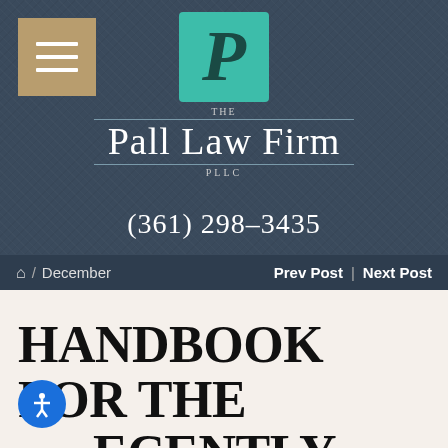[Figure (logo): The Pall Law Firm PLLC logo with teal square background and stylized P monogram]
(361) 298-3435
Home / December  Prev Post | Next Post
HANDBOOK FOR THE RECENTLY DIVORCED